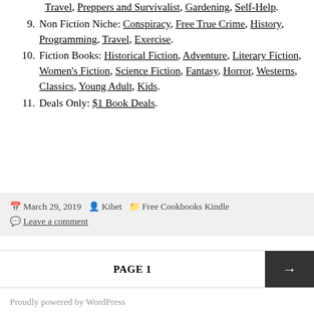Travel, Preppers and Survivalist, Gardening, Self-Help.
9. Non Fiction Niche: Conspiracy, Free True Crime, History, Programming, Travel, Exercise.
10. Fiction Books: Historical Fiction, Adventure, Literary Fiction, Women's Fiction, Science Fiction, Fantasy, Horror, Westerns, Classics, Young Adult, Kids.
11. Deals Only: $1 Book Deals.
March 29, 2019   Kibet   Free Cookbooks Kindle   Leave a comment
PAGE 1
Proudly powered by WordPress